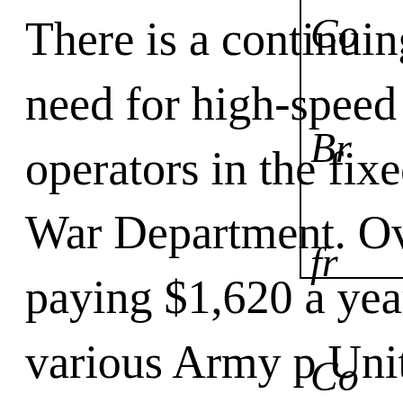There is a continuing and urgent need for high-speed radio-equipment operators in the fixed service of the War Department. Over 200 positions paying $1,620 a year are now open at various Army posts in the United States and territories. These are called Junior Communications Operator, Radio Equipment, and are covered by Announcement
Co... Br... fr... Co...